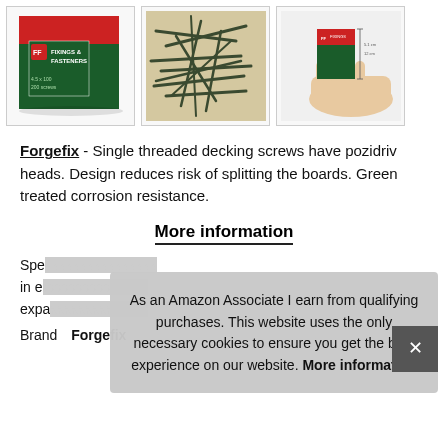[Figure (photo): Three product photos: a box of Forgefix Fixings & Fasteners decking screws, a pile of dark green decking screws, and a hand holding the small box with dimension indicators.]
Forgefix - Single threaded decking screws have pozidriv heads. Design reduces risk of splitting the boards. Green treated corrosion resistance.
More information
Spe... in e... expa...
As an Amazon Associate I earn from qualifying purchases. This website uses the only necessary cookies to ensure you get the best experience on our website. More information
Brand  Forgefix